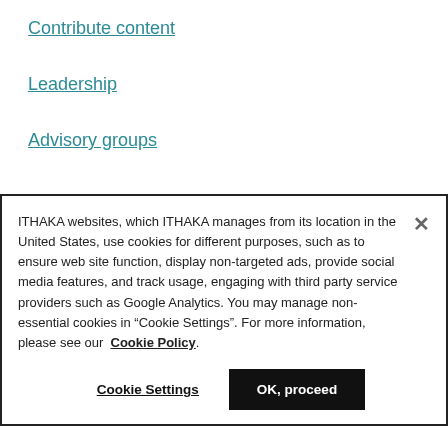Contribute content
Leadership
Advisory groups
ITHAKA websites, which ITHAKA manages from its location in the United States, use cookies for different purposes, such as to ensure web site function, display non-targeted ads, provide social media features, and track usage, engaging with third party service providers such as Google Analytics. You may manage non-essential cookies in “Cookie Settings”. For more information, please see our Cookie Policy.
Cookie Settings | OK, proceed